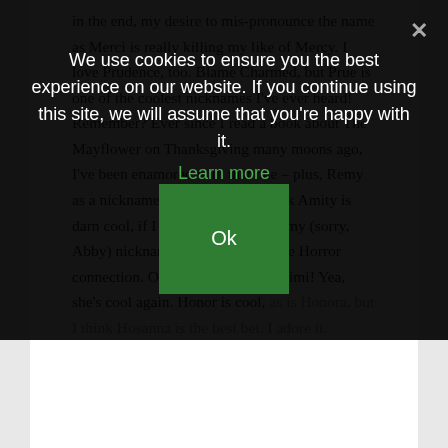We use cookies to ensure you the best experience on our website. If you continue using this site, we will assume that you're happy with it.
Learn more
Ok
in the end, my desire to mis-pronounce the name as Merci is really killing my like of Mercy. I love Prudence, too. Blame Charmed, but Prue is one of the coolest nicknames I've ever heard! Remember? Ever since I read a book about The Mayflower on Thanksgiving many moons ago, I've been enamored with that one – plus, Remy as a nickname? Divine. I even think Amity is darn cool, if I could get over the Amy (sorry, Abby) nickname and the Amityville Horror connection. Oh! Amity could be Mimi! Yea, she's cool again. Honor is cool, as is Honora, but I think Hosanna is the best bet. I adore it.